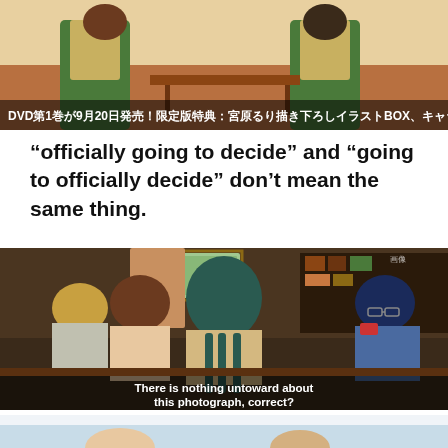[Figure (screenshot): Anime screenshot showing two girls in green school uniforms sitting on a sofa. Japanese subtitle text at bottom reads: DVD第1巻が9月20日発売！限定版特典：宮原るり描き下ろしイラストBOX、キャラ]
“officially going to decide” and “going to officially decide” don’t mean the same thing.
[Figure (screenshot): Anime screenshot showing several characters sitting around a table in a library/office setting. One character has dark teal braided hair shown from behind, another wears glasses and holds a red camera/phone. Subtitle text reads: There is nothing untoward about this photograph, correct?]
[Figure (screenshot): Partial anime screenshot at the bottom, showing the beginning of another scene with a light blue/white background.]